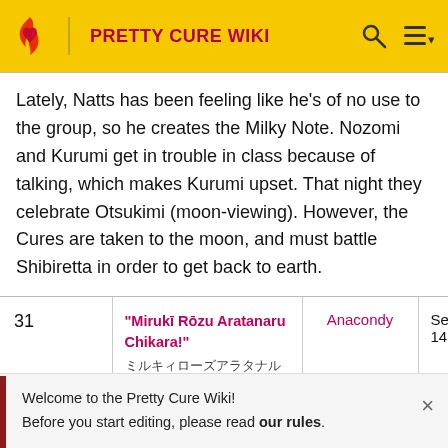PRETTY CURE WIKI
Lately, Natts has been feeling like he's of no use to the group, so he creates the Milky Note. Nozomi and Kurumi get in trouble in class because of talking, which makes Kurumi upset. That night they celebrate Otsukimi (moon-viewing). However, the Cures are taken to the moon, and must battle Shibiretta in order to get back to earth.
| # | Title | Director | Air Date |
| --- | --- | --- | --- |
| 31 | "Mirukī Rōzu Aratanaru Chikara!"
ミルキィローズアラタナルチカラ！
"Milky Rose's | Anacondy | September 14, 2008 |
Welcome to the Pretty Cure Wiki!
Before you start editing, please read our rules.